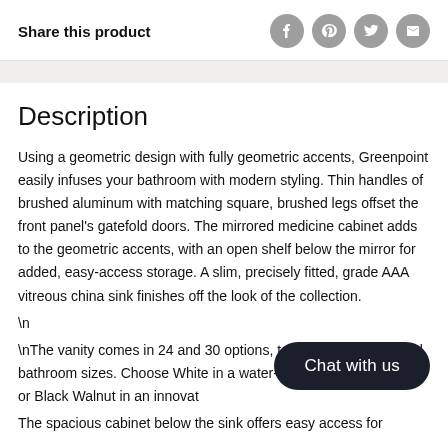Share this product
Description
Using a geometric design with fully geometric accents, Greenpoint easily infuses your bathroom with modern styling. Thin handles of brushed aluminum with matching square, brushed legs offset the front panel's gatefold doors. The mirrored medicine cabinet adds to the geometric accents, with an open shelf below the mirror for added, easy-access storage. A slim, precisely fitted, grade AAA vitreous china sink finishes off the look of the collection.
\n
\nThe vanity comes in 24 and 30 options, to accommodate varied bathroom sizes. Choose White in a water-resistant lacquer finish, or Black Walnut in an innovative finish. The spacious cabinet below the sink offers easy access for